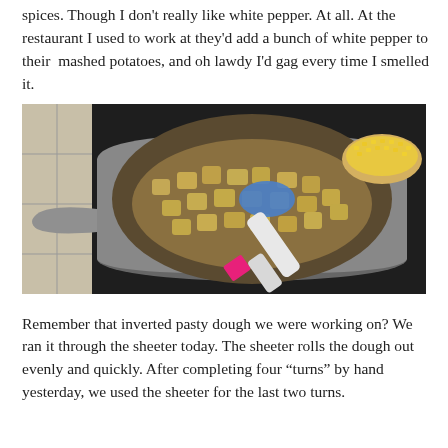spices. Though I don't really like white pepper. At all. At the restaurant I used to work at they'd add a bunch of white pepper to their mashed potatoes, and oh lawdy I'd gag every time I smelled it.
[Figure (photo): A stainless steel pan on a black stovetop containing diced potatoes cooking in a brown sauce, being stirred with a blue and white spatula with a pink label. A bowl of corn is visible in the upper right corner.]
Remember that inverted pasty dough we were working on? We ran it through the sheeter today. The sheeter rolls the dough out evenly and quickly. After completing four “turns” by hand yesterday, we used the sheeter for the last two turns.